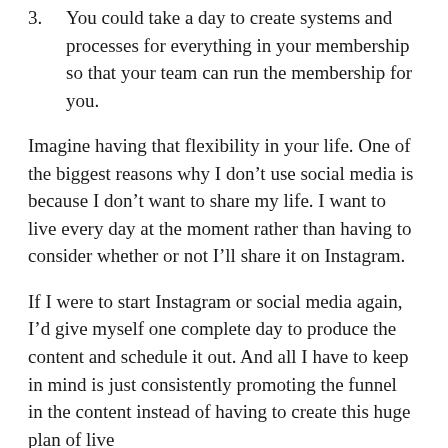3. You could take a day to create systems and processes for everything in your membership so that your team can run the membership for you.
Imagine having that flexibility in your life. One of the biggest reasons why I don’t use social media is because I don’t want to share my life. I want to live every day at the moment rather than having to consider whether or not I’ll share it on Instagram.
If I were to start Instagram or social media again, I’d give myself one complete day to produce the content and schedule it out. And all I have to keep in mind is just consistently promoting the funnel in the content instead of having to create this huge plan of live